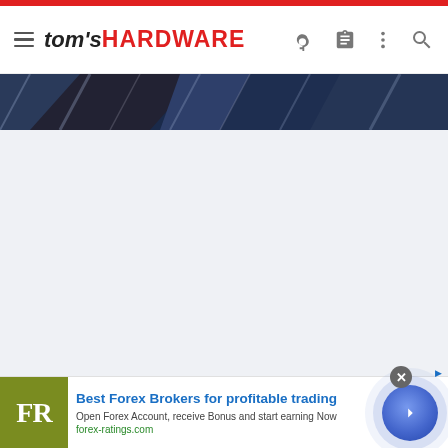tom's HARDWARE
[Figure (screenshot): Tom's Hardware website header and navigation bar with logo, hamburger menu, key icon, clipboard icon, kebab menu, and search icon. Below is a dark blue diagonal banner image strip, followed by a light gray empty content area.]
Best Forex Brokers for profitable trading
Open Forex Account, receive Bonus and start earning Now
forex-ratings.com